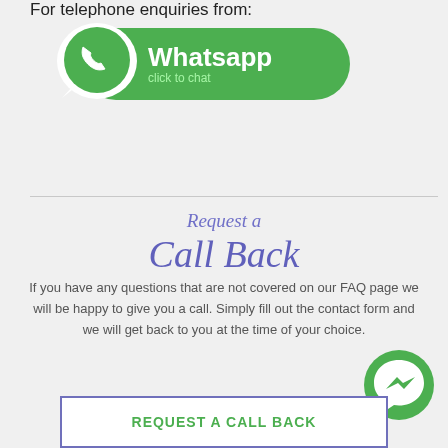For telephone enquiries from:
[Figure (logo): WhatsApp 'click to chat' button with green background and phone icon]
Request a
Call Back
If you have any questions that are not covered on our FAQ page we will be happy to give you a call. Simply fill out the contact form and we will get back to you at the time of your choice.
[Figure (logo): Facebook Messenger green bubble icon]
REQUEST A CALL BACK